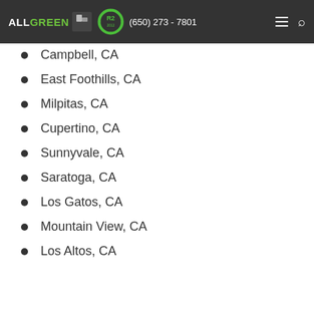ALL GREEN (logo) R2 (badge) (650) 273 - 7801
Campbell, CA
East Foothills, CA
Milpitas, CA
Cupertino, CA
Sunnyvale, CA
Saratoga, CA
Los Gatos, CA
Mountain View, CA
Los Altos, CA